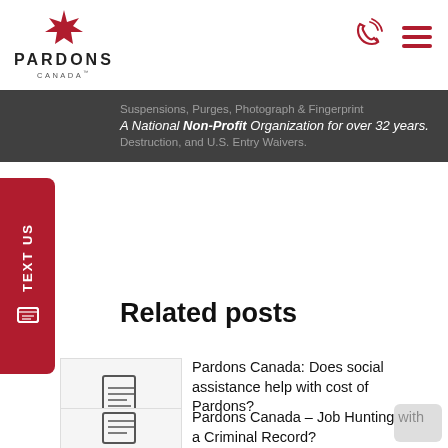[Figure (logo): Pardons Canada logo with red maple leaf and text PARDONS CANADA]
[Figure (infographic): Phone icon and hamburger menu icon in red]
Suspensions, Purges, Photograph & Fingerprint Destruction, and U.S. Entry Waivers.
A National Non-Profit Organization for over 32 years.
[Figure (infographic): Red sidebar button with TEXT US label and phone icon]
Related posts
[Figure (illustration): Document icon thumbnail for first related post]
Pardons Canada: Does social assistance help with cost of Pardons?
[Figure (illustration): Document icon thumbnail for second related post]
Pardons Canada – Job Hunting with a Criminal Record?